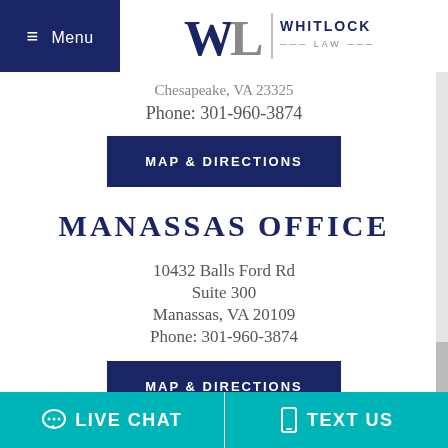Menu | WL WHITLOCK LAW
Chesapeake, VA 23325
Phone: 301-960-3874
MAP & DIRECTIONS
MANASSAS OFFICE
10432 Balls Ford Rd
Suite 300
Manassas, VA 20109
Phone: 301-960-3874
MAP & DIRECTIONS
LIVE CHAT  TEXT US